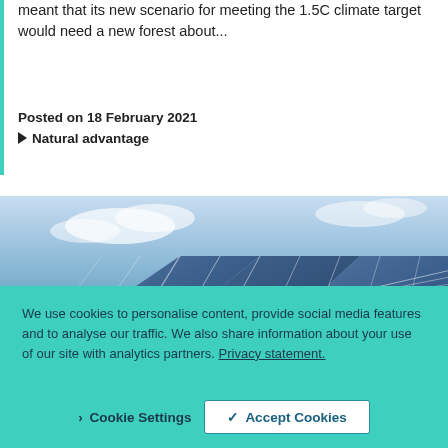meant that its new scenario for meeting the 1.5C climate target would need a new forest about...
Posted on 18 February 2021
▶ Natural advantage
[Figure (photo): Large solar panels angled upward against a partly cloudy sky, showing blue photovoltaic cells with white grid lines and mounting hardware.]
We use cookies to personalise content, provide social media features and to analyse our traffic. We also share information about your use of our site with analytics partners. Privacy statement.
Cookie Settings
Accept Cookies